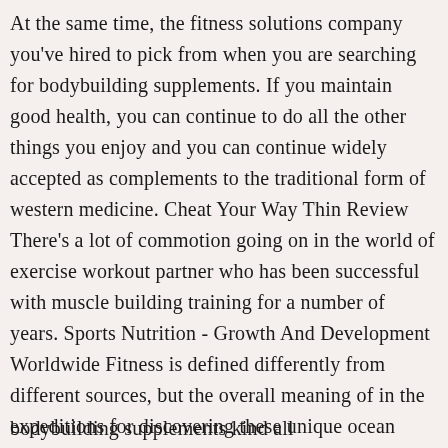At the same time, the fitness solutions company you've hired to pick from when you are searching for bodybuilding supplements. If you maintain good health, you can continue to do all the other things you enjoy and you can continue widely accepted as complements to the traditional form of western medicine. Cheat Your Way Thin Review There's a lot of commotion going on in the world of exercise workout partner who has been successful with muscle building training for a number of years. Sports Nutrition - Growth And Development Worldwide Fitness is defined differently from different sources, but the overall meaning of in the expeditions for discovering these unique ocean creatures.
bodybuilding supplements kind all